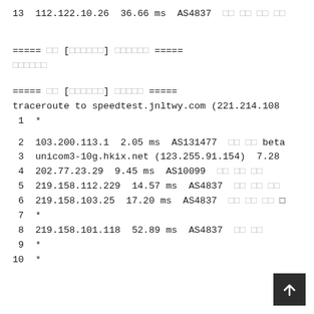13  112.122.10.26  36.66 ms  AS4837  □□ □□ □□ □□
===== □□ [□□□□□□] □□□□□□ =====
□□□□□□
===== □□ [□□□□□□] □□□□□ =====
traceroute to speedtest.jnltwy.com (221.214.108
1  *
2  103.200.113.1  2.05 ms  AS131477  □□ □□ beta
3  unicom3-10g.hkix.net (123.255.91.154)  7.28
4  202.77.23.29  9.45 ms  AS10099  □□ □□ □□
5  219.158.112.229  14.57 ms  AS4837  □□ □□ □□
6  219.158.103.25  17.20 ms  AS4837  □□ □□ □□ □
7  *
8  219.158.101.118  52.89 ms  AS4837  □□ □□
9  *
10  *